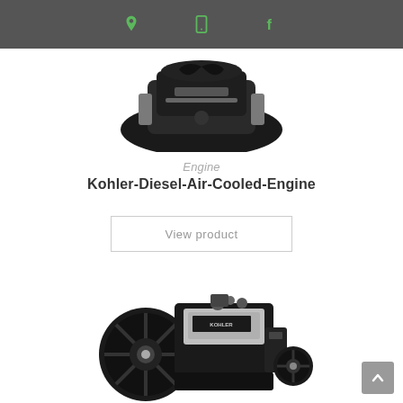Navigation bar with location, mobile, and facebook icons
[Figure (photo): Top portion of a Kohler Diesel Air Cooled Engine, dark colored, partially visible from above]
Engine
Kohler-Diesel-Air-Cooled-Engine
View product
[Figure (photo): Full view of a Kohler Diesel Air Cooled Engine with large black cooling fan, yellow oil cap visible, silver engine block with KOHLER branding]